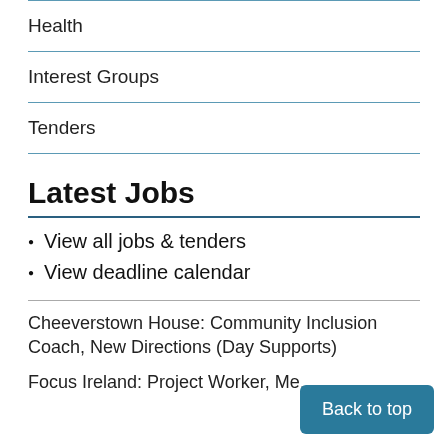Health
Interest Groups
Tenders
Latest Jobs
View all jobs & tenders
View deadline calendar
Cheeverstown House: Community Inclusion Coach, New Directions (Day Supports)
Focus Ireland: Project Worker, Me...